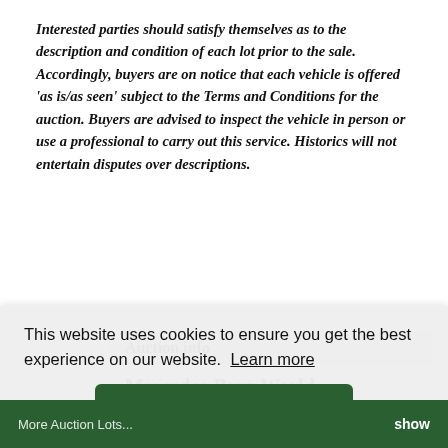Interested parties should satisfy themselves as to the description and condition of each lot prior to the sale. Accordingly, buyers are on notice that each vehicle is offered 'as is/as seen' subject to the Terms and Conditions for the auction. Buyers are advised to inspect the vehicle in person or use a professional to carry out this service. Historics will not entertain disputes over descriptions.
Auction info
Mercedes-Benz World
November 23rd 2019
You may also like...
This website uses cookies to ensure you get the best experience on our website.  Learn more
Got it!
More Auction Lots...  show